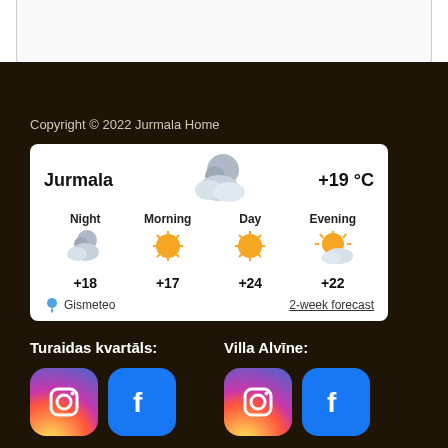[Figure (screenshot): Top white/gray bar section at top of page]
Copyright © 2022 Jurmala Home
[Figure (infographic): Jurmala weather widget showing +19°C current, Night +18, Morning +17, Day +24, Evening +22. Gismeteo branding with 2-week forecast link.]
Turaidas kvartāls:
Villa Alvīne:
[Figure (logo): Instagram and Facebook icons for Turaidas kvartāls]
[Figure (logo): Instagram and Facebook icons for Villa Alvīne]